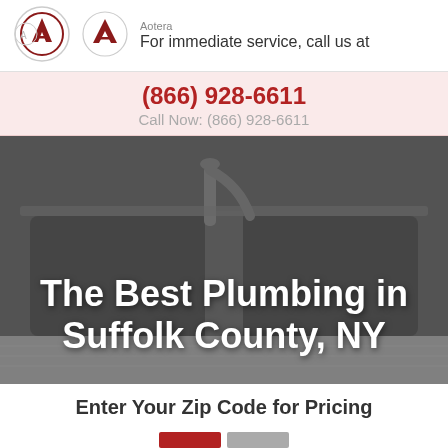For immediate service, call us at
(866) 928-6611
Call Now: (866) 928-6611
[Figure (photo): Close-up photo of a stainless steel kitchen sink with chrome faucet]
The Best Plumbing in Suffolk County, NY
Enter Your Zip Code for Pricing